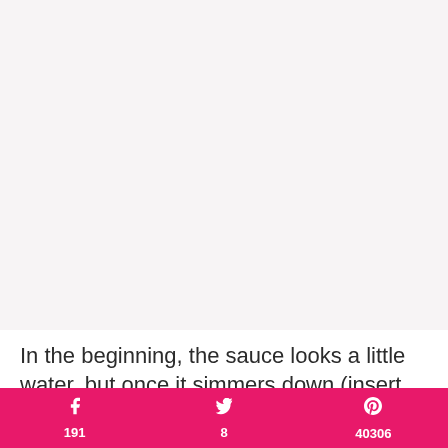[Figure (photo): Large blank/light pink-gray image area occupying the top portion of the page]
In the beginning, the sauce looks a little water, but once it simmers down (insert Dr Evil here) and
191  8  40306